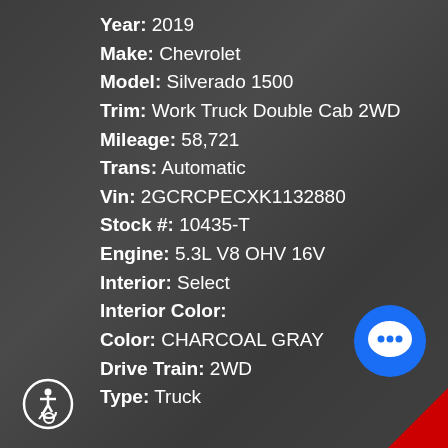Year: 2019
Make: Chevrolet
Model: Silverado 1500
Trim: Work Truck Double Cab 2WD
Mileage: 58,721
Trans: Automatic
Vin: 2GCRCPECXK1132880
Stock #: 10435-T
Engine: 5.3L V8 OHV 16V
Interior: Select
Interior Color:
Color: CHARCOAL GRAY
Drive Train: 2WD
Type: Truck
[Figure (illustration): Blue circular chat bubble icon with three white dots, positioned at bottom right]
[Figure (illustration): Red triangle corner decoration at bottom right edge]
[Figure (illustration): Wheelchair accessibility icon circle at bottom left]